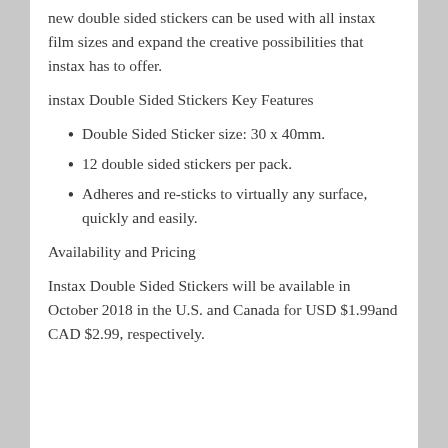new double sided stickers can be used with all instax film sizes and expand the creative possibilities that instax has to offer.
instax Double Sided Stickers Key Features
Double Sided Sticker size: 30 x 40mm.
12 double sided stickers per pack.
Adheres and re-sticks to virtually any surface, quickly and easily.
Availability and Pricing
Instax Double Sided Stickers will be available in October 2018 in the U.S. and Canada for USD $1.99and CAD $2.99, respectively.